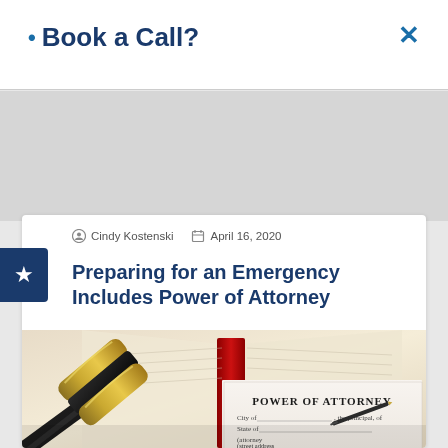Book a Call?
Cindy Kostenski   April 16, 2020
Preparing for an Emergency Includes Power of Attorney
[Figure (photo): A judge's gavel resting on a Power of Attorney document with an open book in the background and a pen visible]